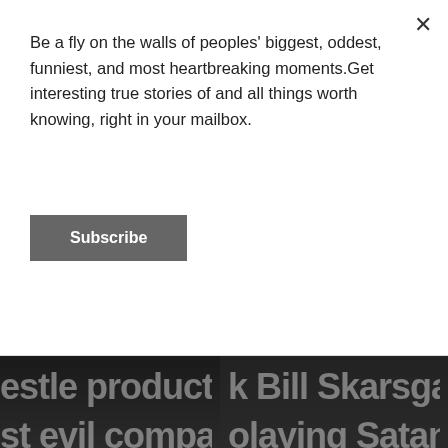Be a fly on the walls of peoples' biggest, oddest, funniest, and most heartbreaking moments.Get interesting true stories of and all things worth knowing, right in your mailbox.
Subscribe
[Figure (screenshot): Two article card thumbnails with dark background text visible: left card shows partial text 'estle products. Literally t / st evil company currentl / ess. Unfortunately, it's n' with overlay title 'People Break Down Which Things Everyone Should St...'; right card shows 'k Bill Skarsgar / olaying Satan. / wanted a more' with overlay title 'People Debate Whi... Would Make The Be...']
Gold8Ball · 16 Aug
Paula · 9 Apr
Cinnamon sugar in a little bottle. It's cinnamon and sugar, guys,...
David Tennant port... well. From Kilgrave ...
Top Comment
12
Top Comment